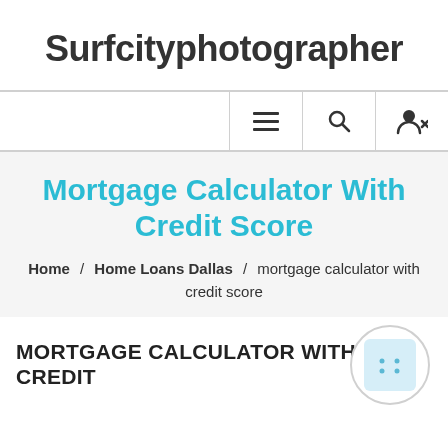Surfcityphotographer
Mortgage Calculator With Credit Score
Home / Home Loans Dallas / mortgage calculator with credit score
MORTGAGE CALCULATOR WITH CREDIT